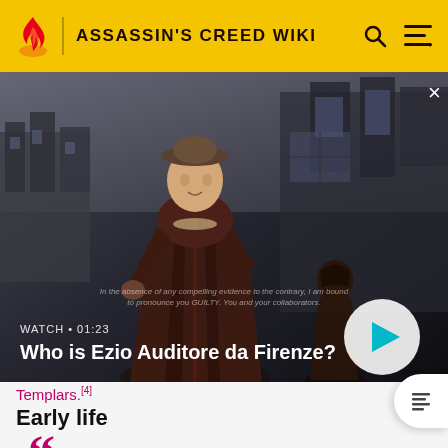ASSASSIN'S CREED WIKI
[Figure (screenshot): Screenshot from Assassin's Creed video game showing a male character in Renaissance-era clothing standing in front of a castle, with a hooded figure in the background. Overlaid text reads 'WATCH • 01:23' and 'Who is Ezio Auditore da Firenze?'. A play button is visible in the bottom right.]
Templars.[4]
Early life
"